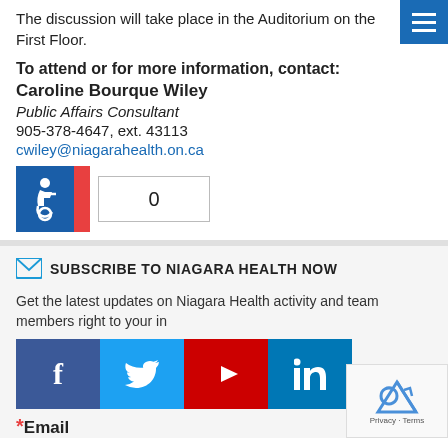The discussion will take place in the Auditorium on the First Floor.
To attend or for more information, contact:
Caroline Bourque Wiley
Public Affairs Consultant
905-378-4647, ext. 43113
cwiley@niagarahealth.on.ca
[Figure (infographic): Accessibility icon (wheelchair symbol) in blue square with red stripe, followed by a counter box showing 0]
SUBSCRIBE TO NIAGARA HEALTH NOW
Get the latest updates on Niagara Health activity and team members right to your inbox.
[Figure (infographic): Social media buttons: Facebook (blue), Twitter (light blue), YouTube (red), LinkedIn (dark blue)]
*Email